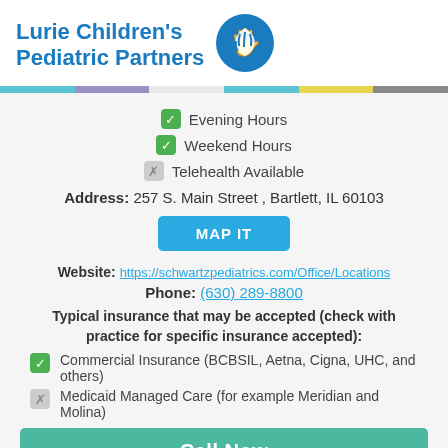[Figure (logo): Lurie Children's Pediatric Partners logo with blue circle and hand icon]
Evening Hours (checked)
Weekend Hours (checked)
Telehealth Available (unchecked)
Address: 257 S. Main Street , Bartlett, IL 60103
MAP IT
Website: https://schwartzpediatrics.com/Office/Locations
Phone: (630) 289-8800
Typical insurance that may be accepted (check with practice for specific insurance accepted):
Commercial Insurance (BCBSIL, Aetna, Cigna, UHC, and others)
Medicaid Managed Care (for example Meridian and Molina)
Call Now